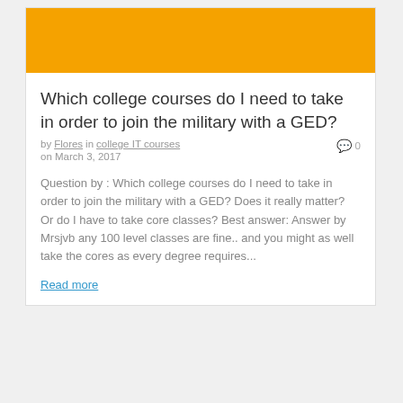[Figure (illustration): Orange banner image at top of article card]
Which college courses do I need to take in order to join the military with a GED?
by Flores in college IT courses   0
on March 3, 2017
Question by : Which college courses do I need to take in order to join the military with a GED? Does it really matter? Or do I have to take core classes? Best answer: Answer by Mrsjvb any 100 level classes are fine.. and you might as well take the cores as every degree requires...
Read more